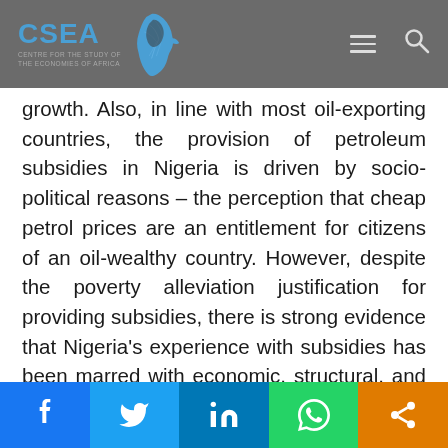CSEA – Centre for the Study of the Economies of Africa
growth. Also, in line with most oil-exporting countries, the provision of petroleum subsidies in Nigeria is driven by socio-political reasons – the perception that cheap petrol prices are an entitlement for citizens of an oil-wealthy country. However, despite the poverty alleviation justification for providing subsidies, there is strong evidence that Nigeria's experience with subsidies has been marred with economic, structural, and political challenges, among others.
Social share buttons: Facebook, Twitter, LinkedIn, WhatsApp, Share